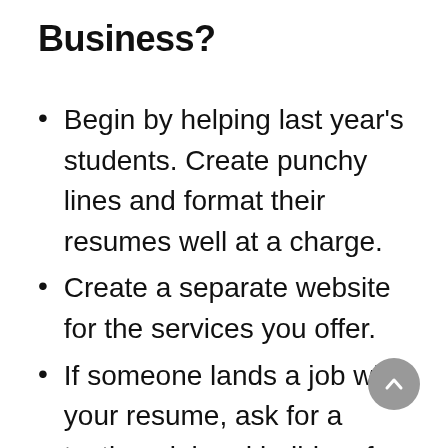Business?
Begin by helping last year's students. Create punchy lines and format their resumes well at a charge.
Create a separate website for the services you offer.
If someone lands a job with your resume, ask for a testimonial and build up from thereon.